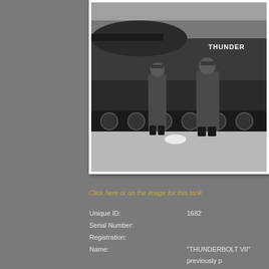[Figure (photo): Black and white photograph of two soldiers in military uniforms standing in front of a tank. The word THUNDERBOLT is partially visible on the upper right of the photo. The tank tracks and hull are visible behind the men.]
Click here or on the image for this tank
Unique ID: 1682
Serial Number:
Registration:
Name: "THUNDERBOLT VII" previously p
Other Identification: Thunderbolt insignia painted on f black. Fitted with steel chevron t transmission cover and turret side